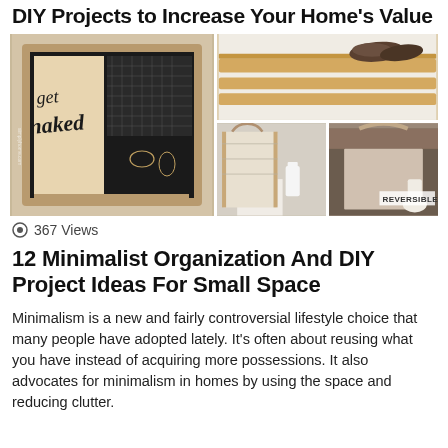DIY Projects to Increase Your Home's Value
[Figure (photo): Collage of four DIY home organization photos: a wooden jewelry cabinet with calligraphy text on the left, a wooden wall-mounted shoe rack top right, two fabric laundry hampers bottom right with a 'REVERSIBLE' label on the far right one.]
367 Views
12 Minimalist Organization And DIY Project Ideas For Small Space
Minimalism is a new and fairly controversial lifestyle choice that many people have adopted lately. It's often about reusing what you have instead of acquiring more possessions. It also advocates for minimalism in homes by using the space and reducing clutter.